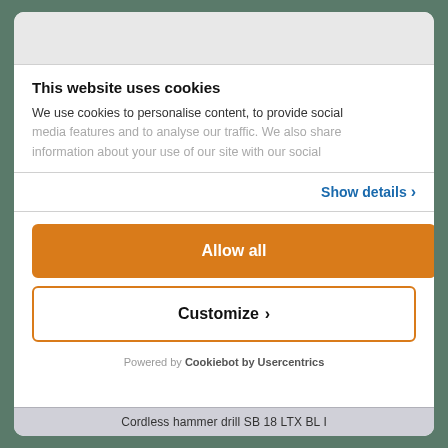This website uses cookies
We use cookies to personalise content, to provide social media features and to analyse our traffic. We also share information about your use of our site with our social
Show details ›
Allow all
Customize ›
Powered by Cookiebot by Usercentrics
Cordless hammer drill SB 18 LTX BL I